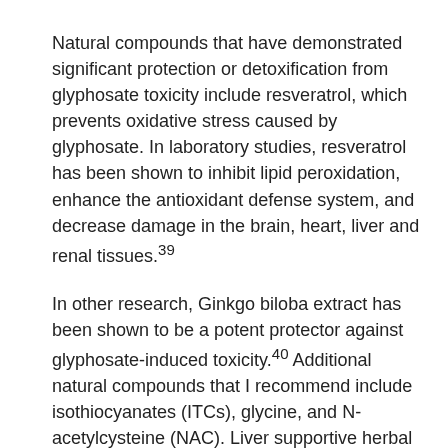Natural compounds that have demonstrated significant protection or detoxification from glyphosate toxicity include resveratrol, which prevents oxidative stress caused by glyphosate. In laboratory studies, resveratrol has been shown to inhibit lipid peroxidation, enhance the antioxidant defense system, and decrease damage in the brain, heart, liver and renal tissues.39
In other research, Ginkgo biloba extract has been shown to be a potent protector against glyphosate-induced toxicity.40 Additional natural compounds that I recommend include isothiocyanates (ITCs), glycine, and N-acetylcysteine (NAC). Liver supportive herbal extracts such as schisandra, andrographis, milk thistle (silymarin), and Baikal skullcap (Scutellaria baicalensis) along with phenol-rich compounds such as pomegranate seed extract and grape seed extract provide broad-spectrum